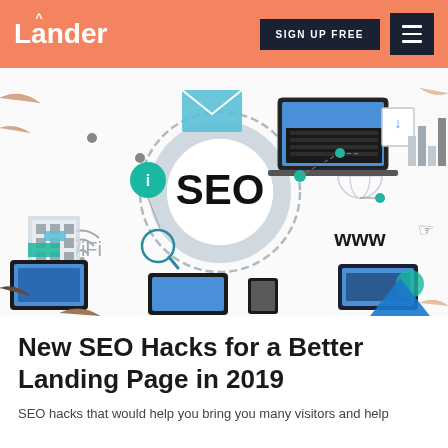Lander — SIGN UP FREE
[Figure (illustration): SEO concept illustration showing people around a table with devices (laptops, tablets, smartphones), digital icons including globe, email, download, wifi, bar chart, and a central circle with bold 'SEO' text and 'www' text, with teal/blue/gray color scheme]
New SEO Hacks for a Better Landing Page in 2019
SEO hacks that would help you bring you many visitors and help